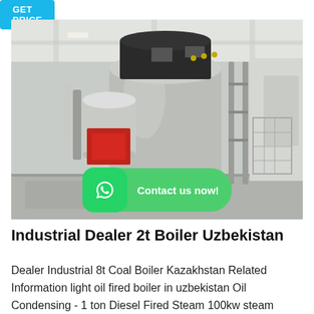GET PRICE
[Figure (photo): Industrial boiler equipment installed in a factory/warehouse setting. Large cylindrical silver boiler with black top section, red burner component visible on the left side. Pipes and support structures visible. White ceiling with industrial lighting. WhatsApp contact badge overlay at bottom center with 'Contact us now!' text.]
Industrial Dealer 2t Boiler Uzbekistan
Dealer Industrial 8t Coal Boiler Kazakhstan Related Information light oil fired boiler in uzbekistan Oil Condensing - 1 ton Diesel Fired Steam 100kw steam